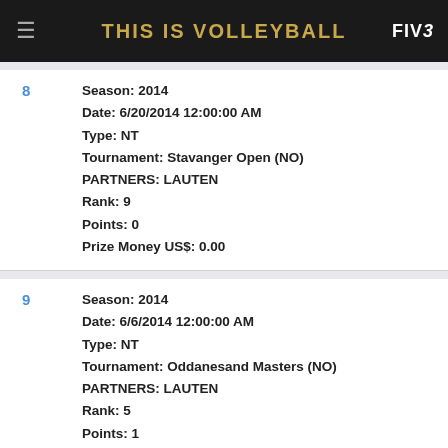THIS IS VOLLEYBALL — FIVB
8 | Season: 2014 | Date: 6/20/2014 12:00:00 AM | Type: NT | Tournament: Stavanger Open (NO) | PARTNERS: LAUTEN | Rank: 9 | Points: 0 | Prize Money US$: 0.00
9 | Season: 2014 | Date: 6/6/2014 12:00:00 AM | Type: NT | Tournament: Oddanesand Masters (NO) | PARTNERS: LAUTEN | Rank: 5 | Points: 1 | Prize Money US$: 0.00
10 | Season: 2014 | Date: 5/29/2014 12:00:00 AM | Type: NT | Tournament: Hit Open (NO) | PARTNERS: LAUTEN | Rank: 5